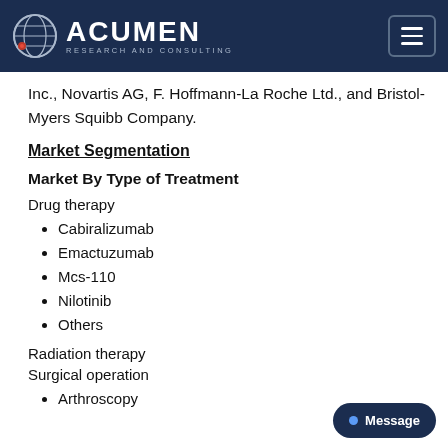Acumen Research and Consulting
Inc., Novartis AG, F. Hoffmann-La Roche Ltd., and Bristol-Myers Squibb Company.
Market Segmentation
Market By Type of Treatment
Drug therapy
Cabiralizumab
Emactuzumab
Mcs-110
Nilotinib
Others
Radiation therapy
Surgical operation
Arthroscopy